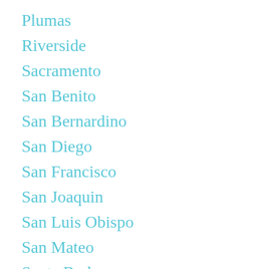Plumas
Riverside
Sacramento
San Benito
San Bernardino
San Diego
San Francisco
San Joaquin
San Luis Obispo
San Mateo
Santa Barbara